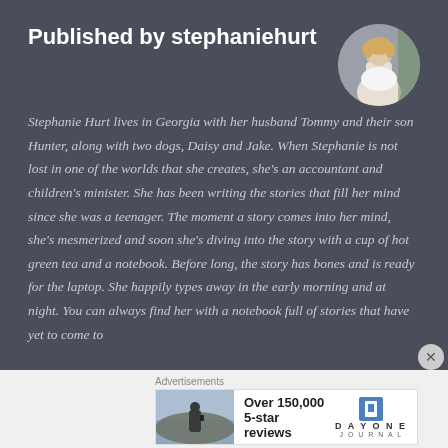Published by stephaniehurt
[Figure (photo): Circular profile photo of Stephanie Hurt, a woman with short blonde hair wearing a white top, outdoors with greenery in background.]
Stephanie Hurt lives in Georgia with her husband Tommy and their son Hunter, along with two dogs, Daisy and Jake. When Stephanie is not lost in one of the worlds that she creates, she's an accountant and children's minister. She has been writing the stories that fill her mind since she was a teenager. The moment a story comes into her mind, she's mesmerized and soon she's diving into the story with a cup of hot green tea and a notebook. Before long, the story has bones and is ready for the laptop. She happily types away in the early morning and at night. You can always find her with a notebook full of stories that have yet to come to
Advertisements
[Figure (photo): Advertisement image showing a person from behind looking at a scenic landscape, for Day One Journal app. Text reads: Over 150,000 5-star reviews. DAY ONE JOURNAL logo shown.]